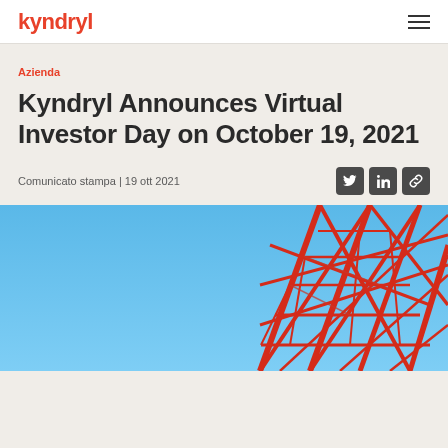kyndryl
Azienda
Kyndryl Announces Virtual Investor Day on October 19, 2021
Comunicato stampa | 19 ott 2021
[Figure (photo): Looking up at a red steel tower structure (Tokyo Tower) against a blue sky, photographed from below at an angle showing the red lattice framework.]